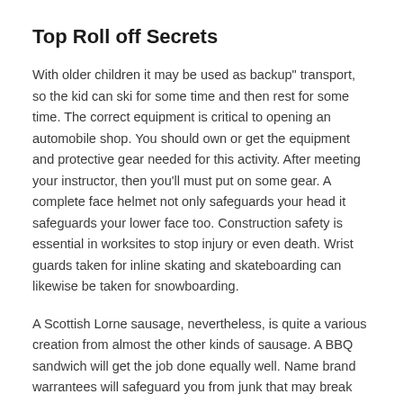Top Roll off Secrets
With older children it may be used as backup" transport, so the kid can ski for some time and then rest for some time. The correct equipment is critical to opening an automobile shop. You should own or get the equipment and protective gear needed for this activity. After meeting your instructor, then you'll must put on some gear. A complete face helmet not only safeguards your head it safeguards your lower face too. Construction safety is essential in worksites to stop injury or even death. Wrist guards taken for inline skating and skateboarding can likewise be taken for snowboarding.
A Scottish Lorne sausage, nevertheless, is quite a various creation from almost the other kinds of sausage. A BBQ sandwich will get the job done equally well. Name brand warrantees will safeguard you from junk that may break your very first time out. It can appear to be a waste of money whenever they don't really require a coat. The sanding process produces a lot of sawdust. In